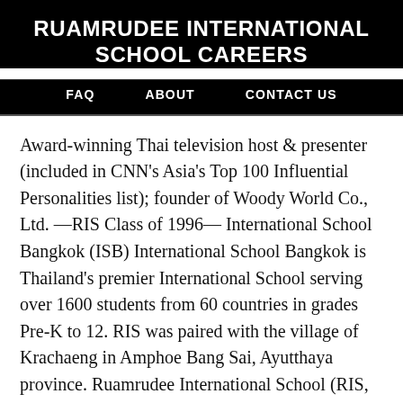RUAMRUDEE INTERNATIONAL SCHOOL CAREERS
FAQ   ABOUT   CONTACT US
Award-winning Thai television host & presenter (included in CNN's Asia's Top 100 Influential Personalities list); founder of Woody World Co., Ltd. —RIS Class of 1996— International School Bangkok (ISB) International School Bangkok is Thailand's premier International School serving over 1600 students from 60 countries in grades Pre-K to 12. RIS was paired with the village of Krachaeng in Amphoe Bang Sai, Ayutthaya province. Ruamrudee International School (RIS, Thai: